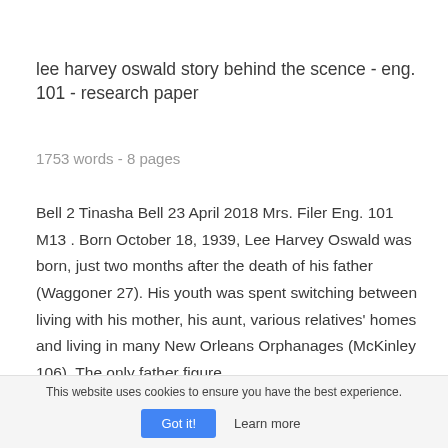lee harvey oswald story behind the scence - eng. 101 - research paper
1753 words - 8 pages
Bell 2 Tinasha Bell 23 April 2018 Mrs. Filer Eng. 101 M13 . Born October 18, 1939, Lee Harvey Oswald was born, just two months after the death of his father (Waggoner 27). His youth was spent switching between living with his mother, his aunt, various relatives' homes and living in many New Orleans Orphanages (McKinley 106). The only father figure
This website uses cookies to ensure you have the best experience.
Got it!   Learn more